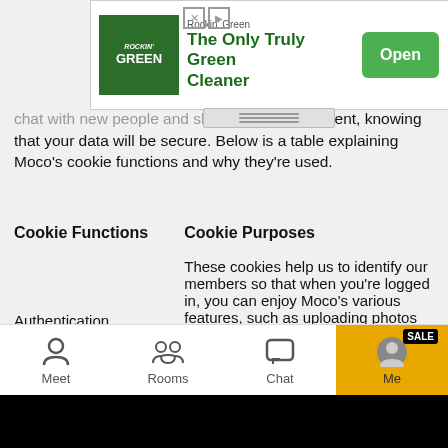[Figure (screenshot): Advertisement banner for Rockin Green - The Only Truly Green Cleaner with Open button]
chat with new people and share content, knowing that your data will be secure. Below is a table explaining Moco's cookie functions and why they're used.
| Cookie Functions | Cookie Purposes |
| --- | --- |
| Authentication | These cookies help us to identify our members so that when you're logged in, you can enjoy Moco's various features, such as uploading photos and chatting, and can localize your experience, such as when you've requested to view Moco's site in your local language or when you've asked Moco to 'remember me'. |
|  | Moco uses Google Analytics to collect information about how visitors use the Moco site and app. We use the information |
[Figure (screenshot): Mobile app bottom navigation bar with Meet, Rooms, Chat, and Me tabs. Me tab is highlighted with gold/yellow background and has a SALE badge.]